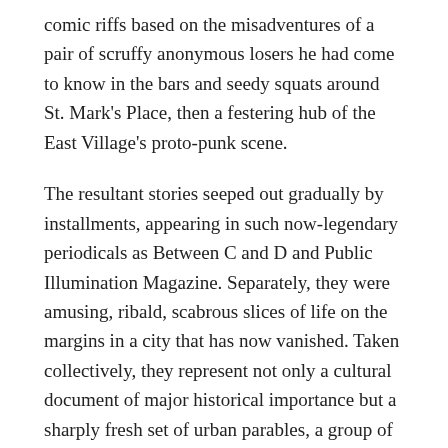comic riffs based on the misadventures of a pair of scruffy anonymous losers he had come to know in the bars and seedy squats around St. Mark's Place, then a festering hub of the East Village's proto-punk scene.
The resultant stories seeped out gradually by installments, appearing in such now-legendary periodicals as Between C and D and Public Illumination Magazine. Separately, they were amusing, ribald, scabrous slices of life on the margins in a city that has now vanished. Taken collectively, they represent not only a cultural document of major historical importance but a sharply fresh set of urban parables, a group of surreal micro-narratives whose gruff wit and anarchic energy remain strikingly appealing. “Duke and Jill do drugs,” goes the now-famous opening of the first tale. “They live on the corner of Avenue A and 10th Street, in a mostly burnt-out building… Bad things keep happening to them.” The cunning parody of the sing-